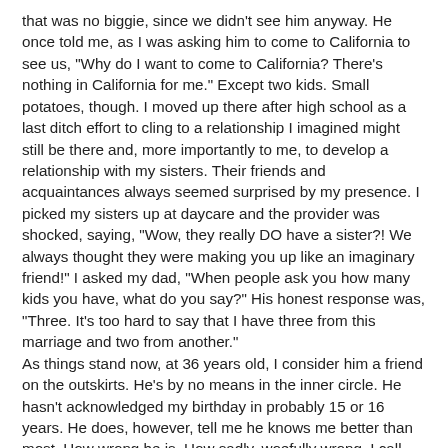that was no biggie, since we didn't see him anyway. He once told me, as I was asking him to come to California to see us, "Why do I want to come to California? There's nothing in California for me." Except two kids. Small potatoes, though. I moved up there after high school as a last ditch effort to cling to a relationship I imagined might still be there and, more importantly to me, to develop a relationship with my sisters. Their friends and acquaintances always seemed surprised by my presence. I picked my sisters up at daycare and the provider was shocked, saying, "Wow, they really DO have a sister?! We always thought they were making you up like an imaginary friend!" I asked my dad, "When people ask you how many kids you have, what do you say?" His honest response was, "Three. It's too hard to say that I have three from this marriage and two from another."
As things stand now, at 36 years old, I consider him a friend on the outskirts. He's by no means in the inner circle. He hasn't acknowledged my birthday in probably 15 or 16 years. He does, however, tell me he knows me better than most. How wrong he is. How sadly, woefully wrong. I call him when I need advice on flooring (his profession). I call him when.....nope, that's about it. When I do call him, I hear